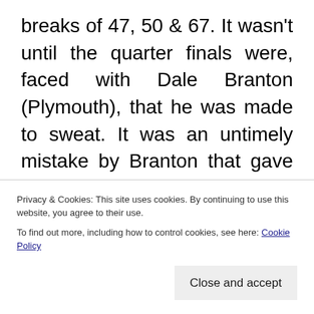breaks of 47, 50 & 67. It wasn't until the quarter finals were, faced with Dale Branton (Plymouth), that he was made to sweat. It was an untimely mistake by Branton that gave let Weaver in to take frame and match and progress into the semis. Here he met Alan Hurley from Cornwall. Hurley had a good run in the early stages making breaks of 43,45,55 and two 76's with the loss of just one match which was to Weaver. After a tough battle
Privacy & Cookies: This site uses cookies. By continuing to use this website, you agree to their use.
To find out more, including how to control cookies, see here: Cookie Policy
Close and accept
McIntosh came out on top. With only five out of